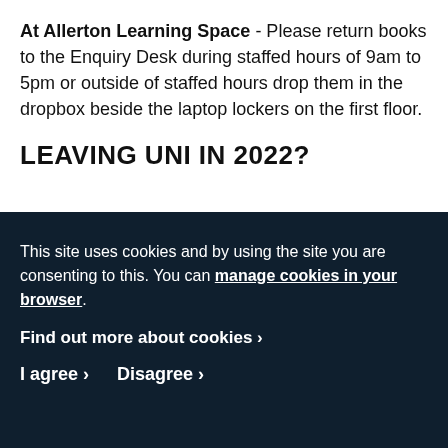At Allerton Learning Space - Please return books to the Enquiry Desk during staffed hours of 9am to 5pm or outside of staffed hours drop them in the dropbox beside the laptop lockers on the first floor.
LEAVING UNI IN 2022?
This site uses cookies and by using the site you are consenting to this. You can manage cookies in your browser.
Find out more about cookies ›
I agree ›   Disagree ›